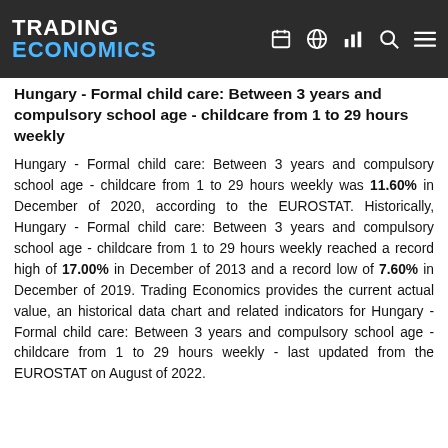TRADING ECONOMICS
Hungary - Formal child care: Between 3 years and compulsory school age - childcare from 1 to 29 hours weekly
Hungary - Formal child care: Between 3 years and compulsory school age - childcare from 1 to 29 hours weekly was 11.60% in December of 2020, according to the EUROSTAT. Historically, Hungary - Formal child care: Between 3 years and compulsory school age - childcare from 1 to 29 hours weekly reached a record high of 17.00% in December of 2013 and a record low of 7.60% in December of 2019. Trading Economics provides the current actual value, an historical data chart and related indicators for Hungary - Formal child care: Between 3 years and compulsory school age - childcare from 1 to 29 hours weekly - last updated from the EUROSTAT on August of 2022.